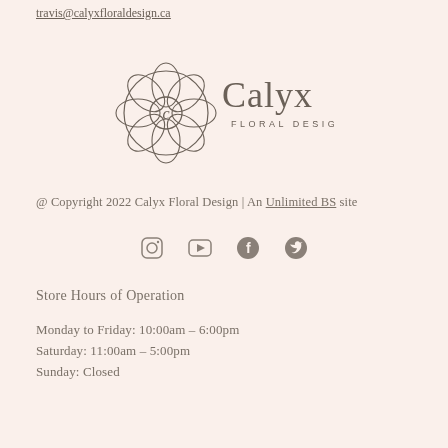travis@calyxfloraldesign.ca
[Figure (logo): Calyx Floral Design logo with circular floral emblem and text]
@ Copyright 2022 Calyx Floral Design | An Unlimited BS site
[Figure (other): Social media icons: Instagram, YouTube, Facebook, Twitter]
Store Hours of Operation
Monday to Friday: 10:00am – 6:00pm
Saturday: 11:00am – 5:00pm
Sunday: Closed